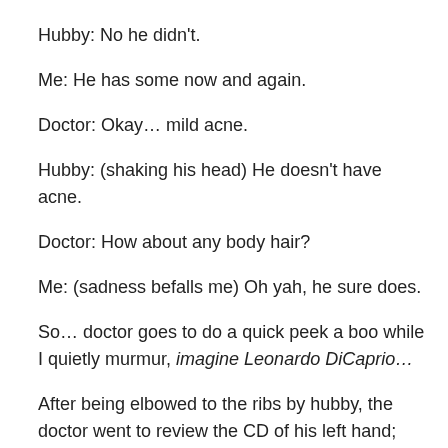Hubby: No he didn't.
Me: He has some now and again.
Doctor: Okay… mild acne.
Hubby: (shaking his head) He doesn't have acne.
Doctor: How about any body hair?
Me: (sadness befalls me) Oh yah, he sure does.
So… doctor goes to do a quick peek a boo while I quietly murmur, imagine Leonardo DiCaprio…
After being elbowed to the ribs by hubby, the doctor went to review the CD of his left hand; she said she was going to confer with her fellow colleagues.